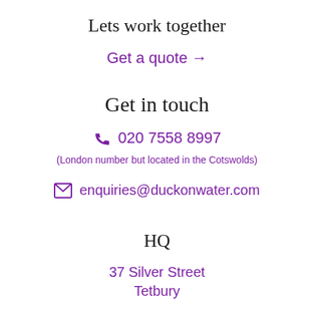Lets work together
Get a quote →
Get in touch
📞  020 7558 8997
(London number but located in the Cotswolds)
✉  enquiries@duckonwater.com
HQ
37 Silver Street
Tetbury